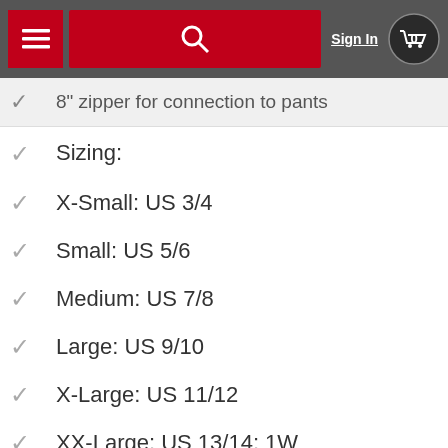Sign In | Menu | Search | Cart (0)
8" zipper for connection to pants
Sizing:
X-Small: US 3/4
Small: US 5/6
Medium: US 7/8
Large: US 9/10
X-Large: US 11/12
XX-Large: US 13/14; 1W
XXX-Large: US 15/16; 2W
XXXX-Large: US 17/18; 3W